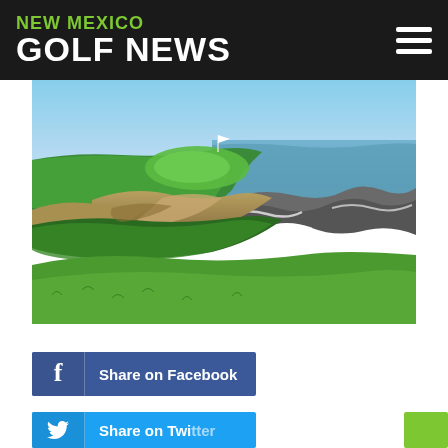NEW MEXICO GOLF NEWS
[Figure (photo): Aerial view of a coastal golf course with green fairways, sand dunes, and ocean waves crashing against rocky shoreline under a blue sky.]
Share on Facebook
Share on Twitter